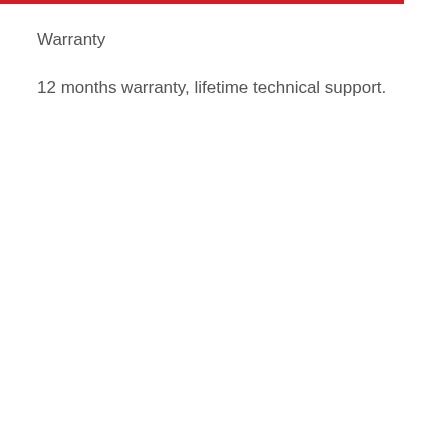Warranty
12 months warranty, lifetime technical support.